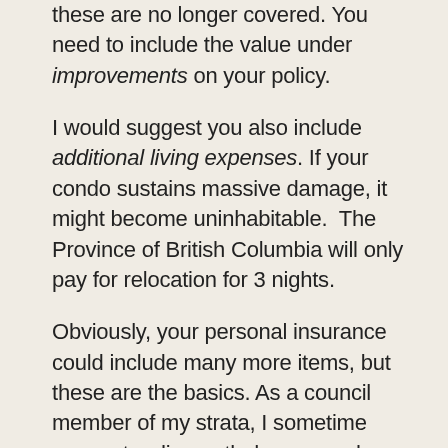these are no longer covered. You need to include the value under improvements on your policy.
I would suggest you also include additional living expenses. If your condo sustains massive damage, it might become uninhabitable.  The Province of British Columbia will only pay for relocation for 3 nights.
Obviously, your personal insurance could include many more items, but these are the basics. As a council member of my strata, I sometime encounter disgruntled owners who don't understand why they have to file a claim with their own insurance company, or why they actually need personal coverage.
They are under the assumption that because